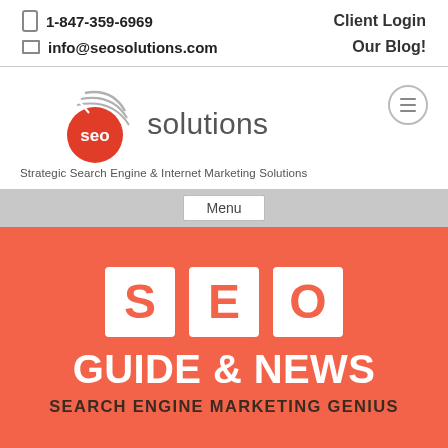1-847-359-6969   Client Login   info@seosolutions.com   Our Blog!
[Figure (logo): SEO Solutions logo with red circle badge and curved signal lines, text 'seo solutions' and tagline 'Strategic Search Engine & Internet Marketing Solutions']
Menu
SEO GUIDE & NEWS
SEARCH ENGINE MARKETING GENIUS